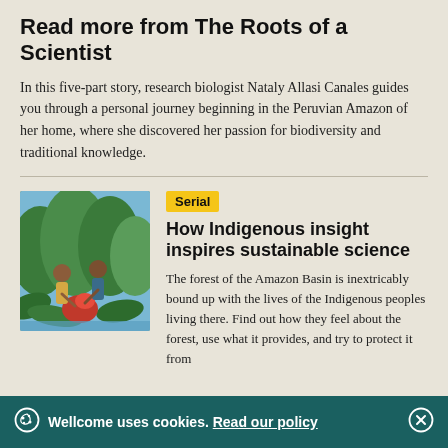Read more from The Roots of a Scientist
In this five-part story, research biologist Nataly Allasi Canales guides you through a personal journey beginning in the Peruvian Amazon of her home, where she discovered her passion for biodiversity and traditional knowledge.
[Figure (illustration): Illustration showing Indigenous people harvesting or gathering plants in a lush green Amazon forest setting with vibrant colors]
Serial
How Indigenous insight inspires sustainable science
The forest of the Amazon Basin is inextricably bound up with the lives of the Indigenous peoples living there. Find out how they feel about the forest, use what it provides, and try to protect it from
Wellcome uses cookies. Read our policy